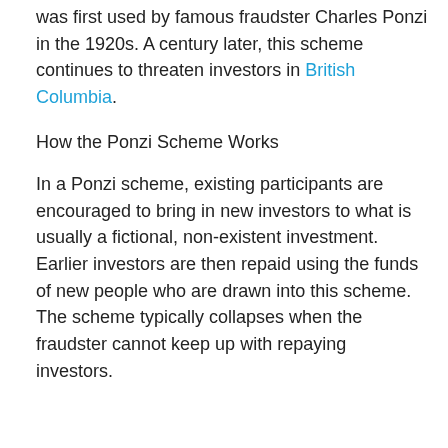was first used by famous fraudster Charles Ponzi in the 1920s. A century later, this scheme continues to threaten investors in British Columbia.
How the Ponzi Scheme Works
In a Ponzi scheme, existing participants are encouraged to bring in new investors to what is usually a fictional, non-existent investment.  Earlier investors are then repaid using the funds of new people who are drawn into this scheme. The scheme typically collapses when the fraudster cannot keep up with repaying investors.